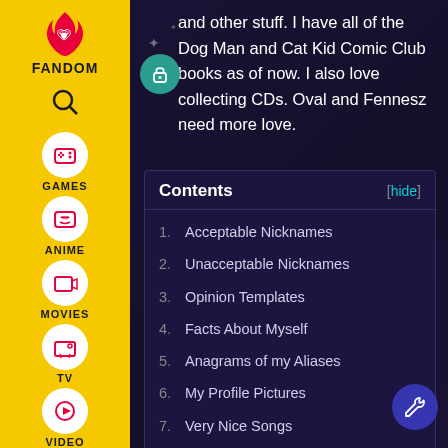[Figure (screenshot): Fandom website left navigation sidebar with yellow background showing Fandom logo (flame with heart), search icon, and navigation items: Games, Anime, Movies, TV, Video, and a profile icon.]
and other stuff. I have all of the Dog Man and Cat Kid Comic Club books as of now. I also love collecting CDs. Oval and Fennesz need more love.
Contents
1. Acceptable Nicknames
2. Unacceptable Nicknames
3. Opinion Templates
4. Facts About Myself
5. Anagrams of my Aliases
6. My Profile Pictures
7. Very Nice Songs
8. Add your own Unicode characters here